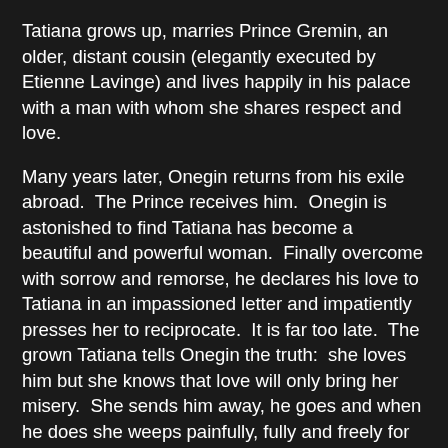Tatiana grows up, marries Prince Gremin, an older, distant cousin (elegantly executed by Etienne Lavinge) and lives happily in his palace with a man with whom she shares respect and love.
Many years later, Onegin returns from his exile abroad.  The Prince receives him.  Onegin is astonished to find Tatiana has become a beautiful and powerful woman.  Finally overcome with sorrow and remorse, he declares his love to Tatiana in an impassioned letter and impatiently presses her to reciprocate.  It is far too late.  The grown Tatiana tells Onegin the truth:  she loves him but she knows that love will only bring her misery.  She sends him away, he goes and when he does she weeps painfully, fully and freely for everything they both lost.
The orchestra, chorus and design were as good as the principals, supporting and enhancing the story.
I loved the restrained palette of the design, especially the way the colors of the costumes were used to underscore the mood and emotions of the characters wearing them.  Tatiana